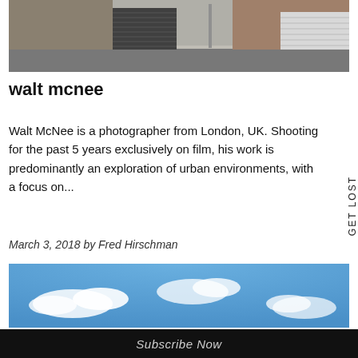[Figure (photo): Street-level photo showing an urban scene with building facades, a shuttered metal door, brick wall, and an empty road in the foreground. Shot in muted colors.]
walt mcnee
Walt McNee is a photographer from London, UK. Shooting for the past 5 years exclusively on film, his work is predominantly an exploration of urban environments, with a focus on...
March 3, 2018 by Fred Hirschman
[Figure (photo): Landscape photo of a blue sky with scattered white clouds, taken from below looking upward.]
GET LOST
Subscribe Now